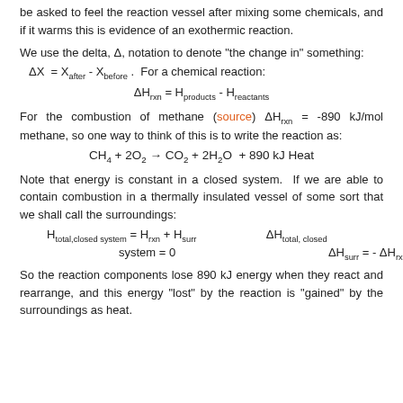be asked to feel the reaction vessel after mixing some chemicals, and if it warms this is evidence of an exothermic reaction.
We use the delta, Δ, notation to denote "the change in" something: ΔX = X_after - X_before. For a chemical reaction: ΔH_rxn = H_products - H_reactants
For the combustion of methane (source) ΔH_rxn = -890 kJ/mol methane, so one way to think of this is to write the reaction as:
Note that energy is constant in a closed system. If we are able to contain combustion in a thermally insulated vessel of some sort that we shall call the surroundings:
So the reaction components lose 890 kJ energy when they react and rearrange, and this energy "lost" by the reaction is "gained" by the surroundings as heat.